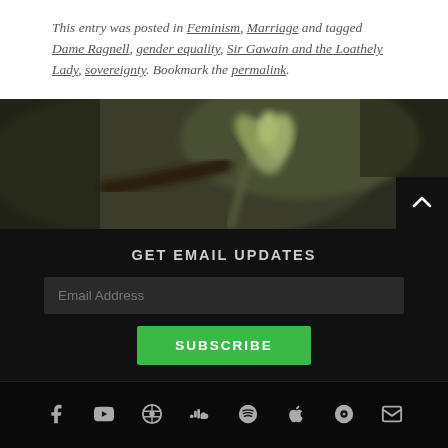This entry was posted in Feminism, Marriage and tagged Dame Ragnell, gender equality, Sir Gawain and the Loathely Lady, sovereignty. Bookmark the permalink.
[Figure (photo): A blurred close-up photo of a plant/flower bud against a dark background]
GET EMAIL UPDATES
Email Address
SUBSCRIBE
[Figure (infographic): Social media icons row: Facebook, YouTube, WordPress, SoundCloud, Spotify, Apple, Bandcamp/radio, Email]
Blog at WordPress.com.